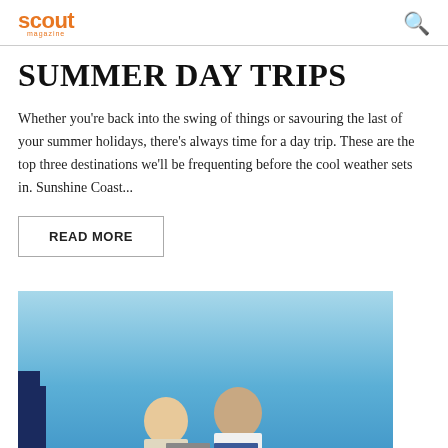scout
SUMMER DAY TRIPS
Whether you're back into the swing of things or savouring the last of your summer holidays, there's always time for a day trip. These are the top three destinations we'll be frequenting before the cool weather sets in. Sunshine Coast...
READ MORE
[Figure (photo): Photo of people against a blue sky background with email and Facebook social share buttons overlaid at the bottom center]